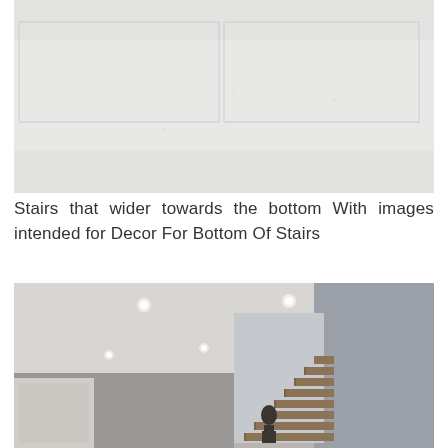[Figure (photo): Close-up photo of a light gray ceiling or wall surface with rectangular panel lines visible.]
Stairs that wider towards the bottom With images intended for Decor For Bottom Of Stairs
[Figure (photo): Interior photo of a modern room with high white ceiling with recessed lighting, gray walls, and a staircase with wooden steps. A person is standing at the bottom of the stairs.]